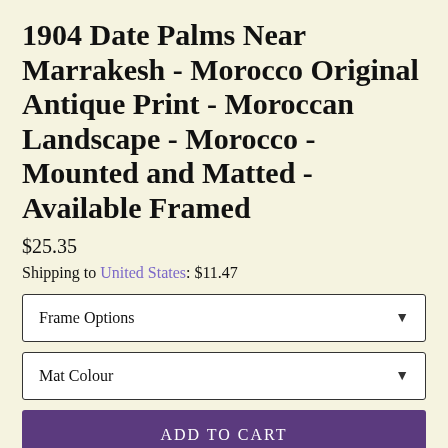1904 Date Palms Near Marrakesh - Morocco Original Antique Print - Moroccan Landscape - Morocco - Mounted and Matted - Available Framed
$25.35
Shipping to United States: $11.47
Frame Options
Mat Colour
ADD TO CART